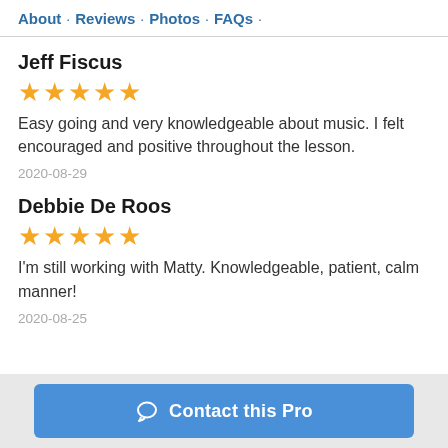About · Reviews · Photos · FAQs ·
Jeff Fiscus
★★★★★
Easy going and very knowledgeable about music. I felt encouraged and positive throughout the lesson.
2020-08-29
Debbie De Roos
★★★★★
I'm still working with Matty. Knowledgeable, patient, calm manner!
2020-08-25
Contact this Pro